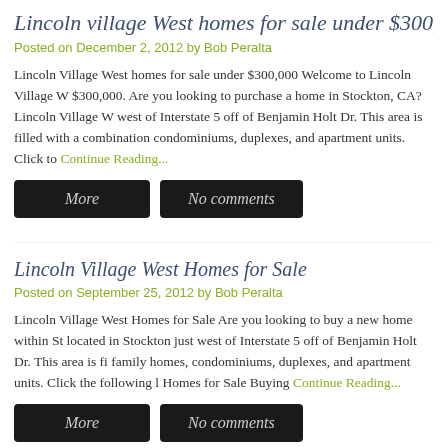Lincoln village West homes for sale under $300,000
Posted on December 2, 2012 by Bob Peralta
Lincoln Village West homes for sale under $300,000 Welcome to Lincoln Village West homes for sale under $300,000. Are you looking to purchase a home in Stockton, CA? Lincoln Village West is located just west of Interstate 5 off of Benjamin Holt Dr. This area is filled with a combination of single family homes, condominiums, duplexes, and apartment units. Click to Continue Reading...
More
No comments
Lincoln Village West Homes for Sale
Posted on September 25, 2012 by Bob Peralta
Lincoln Village West Homes for Sale Are you looking to buy a new home within Stockton? LVW is located in Stockton just west of Interstate 5 off of Benjamin Holt Dr. This area is filled with single family homes, condominiums, duplexes, and apartment units. Click the following links Lincoln Village West Homes for Sale Buying Continue Reading...
More
No comments